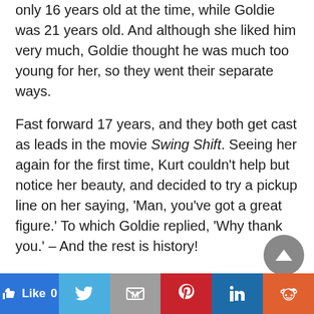only 16 years old at the time, while Goldie was 21 years old. And although she liked him very much, Goldie thought he was much too young for her, so they went their separate ways.
Fast forward 17 years, and they both get cast as leads in the movie Swing Shift. Seeing her again for the first time, Kurt couldn't help but notice her beauty, and decided to try a pickup line on her saying, 'Man, you've got a great figure.' To which Goldie replied, 'Why thank you.' – And the rest is history!
Goldie and Kurt fell in love and moved in together